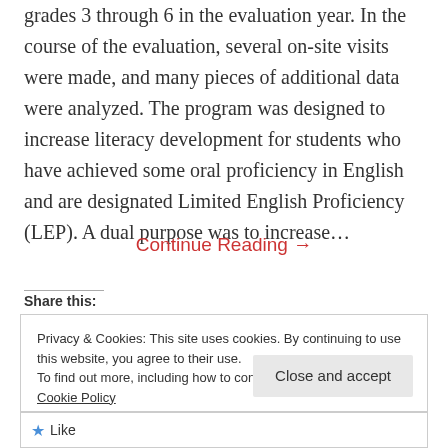grades 3 through 6 in the evaluation year. In the course of the evaluation, several on-site visits were made, and many pieces of additional data were analyzed. The program was designed to increase literacy development for students who have achieved some oral proficiency in English and are designated Limited English Proficiency (LEP). A dual purpose was to increase…
Continue Reading →
Share this:
Privacy & Cookies: This site uses cookies. By continuing to use this website, you agree to their use.
To find out more, including how to control cookies, see here: Cookie Policy
Close and accept
Like